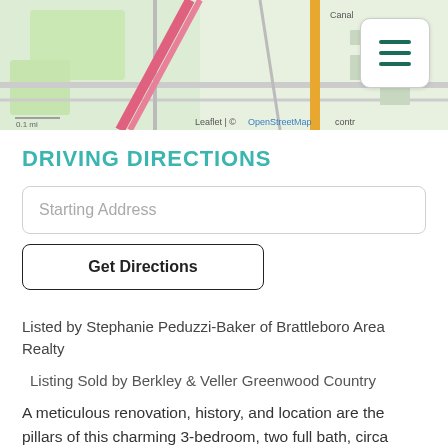[Figure (map): Street map showing local area with roads, green spaces, a pink/red diagonal road, and an orange road, with Leaflet/OpenStreetMap attribution]
DRIVING DIRECTIONS
Starting Address
Get Directions
Listed by Stephanie Peduzzi-Baker of Brattleboro Area Realty
Listing Sold by Berkley & Veller Greenwood Country
A meticulous renovation, history, and location are the pillars of this charming 3-bedroom, two full bath, circa 1830 brick house. Located a half mile from the heart of downtown with its dynamic shops and varied restaurants. A top-to-bottom renovation includes all new plumbing and electric, a new foundation under the kitchen and sunroom, new standing